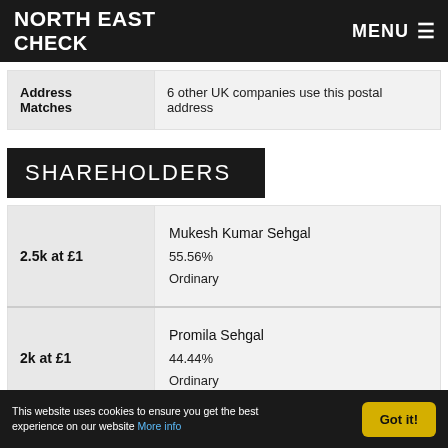NORTH EAST CHECK | MENU
| Address Matches | Value |
| --- | --- |
| Address Matches | 6 other UK companies use this postal address |
SHAREHOLDERS
| Shares | Shareholder |
| --- | --- |
| 2.5k at £1 | Mukesh Kumar Sehgal
55.56%
Ordinary |
| 2k at £1 | Promila Sehgal
44.44%
Ordinary |
This website uses cookies to ensure you get the best experience on our website More info